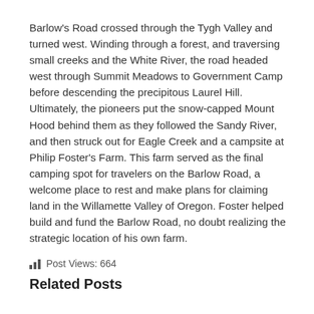Barlow's Road crossed through the Tygh Valley and turned west. Winding through a forest, and traversing small creeks and the White River, the road headed west through Summit Meadows to Government Camp before descending the precipitous Laurel Hill. Ultimately, the pioneers put the snow-capped Mount Hood behind them as they followed the Sandy River, and then struck out for Eagle Creek and a campsite at Philip Foster's Farm. This farm served as the final camping spot for travelers on the Barlow Road, a welcome place to rest and make plans for claiming land in the Willamette Valley of Oregon. Foster helped build and fund the Barlow Road, no doubt realizing the strategic location of his own farm.
Post Views: 664
Related Posts